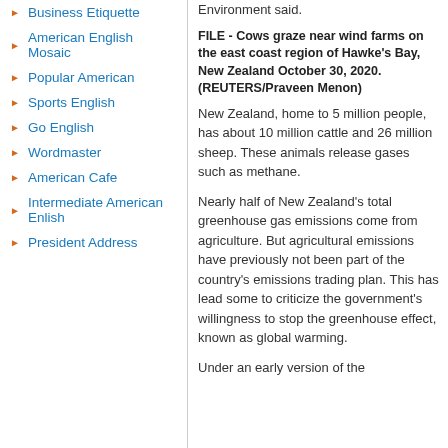Business Etiquette
American English Mosaic
Popular American
Sports English
Go English
Wordmaster
American Cafe
Intermediate American Enlish
President Address
Environment said.
FILE - Cows graze near wind farms on the east coast region of Hawke's Bay, New Zealand October 30, 2020. (REUTERS/Praveen Menon)
New Zealand, home to 5 million people, has about 10 million cattle and 26 million sheep. These animals release gases such as methane.
Nearly half of New Zealand's total greenhouse gas emissions come from agriculture. But agricultural emissions have previously not been part of the country's emissions trading plan. This has lead some to criticize the government's willingness to stop the greenhouse effect, known as global warming.
Under an early version of the